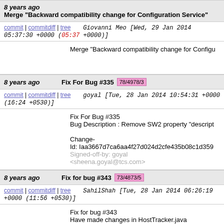8 years ago   Merge "Backward compatibility change for Configuration Service"
commit | commitdiff | tree   Giovanni Meo [Wed, 29 Jan 2014 05:37:30 +0000 (05:37 +0000)]
Merge "Backward compatibility change for Configu
8 years ago   Fix For Bug #335  78/4978/3
commit | commitdiff | tree   goyal [Tue, 28 Jan 2014 10:54:31 +0000 (16:24 +0530)]
Fix For Bug #335
Bug Description : Remove SW2 property "descript

Change-
Id: Iaa3667d7ca6aa4f27d024d2cfe435b08c1d359
Signed-off-by: goyal <sheena.goyal@tcs.com>
8 years ago   Fix for bug #343  73/4873/5
commit | commitdiff | tree   SahilShah [Tue, 28 Jan 2014 06:26:19 +0000 (11:56 +0530)]
Fix for bug #343
Have made changes in HostTracker.java
Submitting again